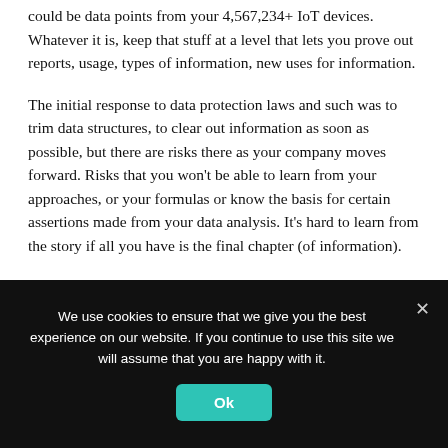could be data points from your 4,567,234+ IoT devices. Whatever it is, keep that stuff at a level that lets you prove out reports, usage, types of information, new uses for information.
The initial response to data protection laws and such was to trim data structures, to clear out information as soon as possible, but there are risks there as your company moves forward. Risks that you won't be able to learn from your approaches, or your formulas or know the basis for certain assertions made from your data analysis. It's hard to learn from the story if all you have is the final chapter (of information).
We use cookies to ensure that we give you the best experience on our website. If you continue to use this site we will assume that you are happy with it.